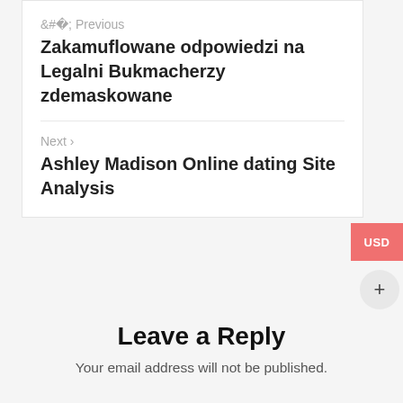< Previous
Zakamuflowane odpowiedzi na Legalni Bukmacherzy zdemaskowane
Next >
Ashley Madison Online dating Site Analysis
Leave a Reply
Your email address will not be published.